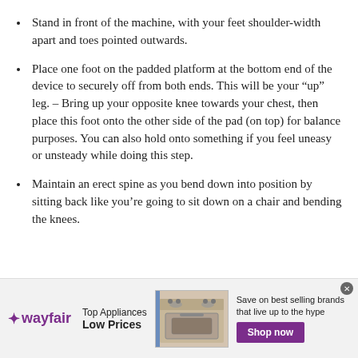Stand in front of the machine, with your feet shoulder-width apart and toes pointed outwards.
Place one foot on the padded platform at the bottom end of the device to securely off from both ends. This will be your “up” leg. – Bring up your opposite knee towards your chest, then place this foot onto the other side of the pad (on top) for balance purposes. You can also hold onto something if you feel uneasy or unsteady while doing this step.
Maintain an erect spine as you bend down into position by sitting back like you’re going to sit down on a chair and bending the knees.
[Figure (other): Wayfair advertisement banner: Top Appliances Low Prices, image of a stove/range, Save on best selling brands that live up to the hype, Shop now button]